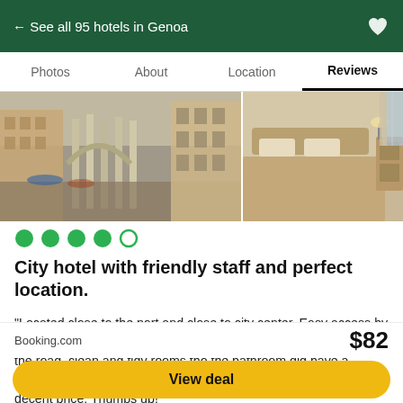← See all 95 hotels in Genoa
Photos  About  Location  Reviews
[Figure (photo): Two hotel/city photos side by side: left shows a cityscape with historic buildings and ruins, right shows a hotel bedroom with a bed and dresser]
●●●●○ (4 out of 5 rating circles)
City hotel with friendly staff and perfect location.
"Located close to the port and close to city center. Easy access by car with discounted parking at the coin parking garage just across the road. clean and tidy rooms tho the bathroom did have a.. Odour. Small old elevator but functional. Overall a good stay for a decent price. Thumbs up! "
Read more
Booking.com
$82
View deal